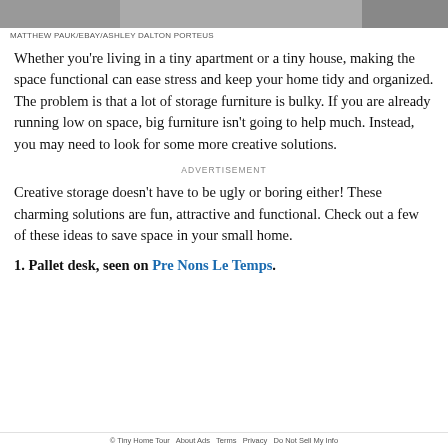[Figure (photo): Three cropped photo segments showing interior/home images in a horizontal strip at the top of the page]
MATTHEW PAUK/EBAY/ASHLEY DALTON PORTEUS
Whether you're living in a tiny apartment or a tiny house, making the space functional can ease stress and keep your home tidy and organized. The problem is that a lot of storage furniture is bulky. If you are already running low on space, big furniture isn't going to help much. Instead, you may need to look for some more creative solutions.
ADVERTISEMENT
Creative storage doesn't have to be ugly or boring either! These charming solutions are fun, attractive and functional. Check out a few of these ideas to save space in your small home.
1. Pallet desk, seen on Pre Nons Le Temps.
© Tiny Home Tour   About Ads   Terms   Privacy   Do Not Sell My Info